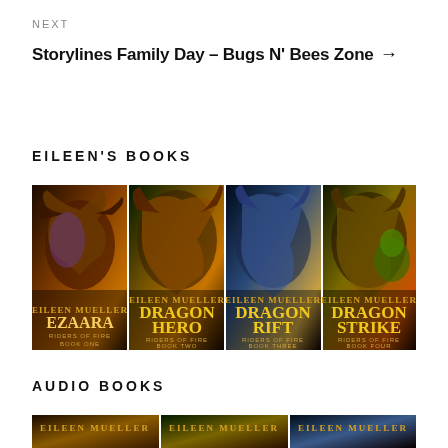NEXT
Storylines Family Day – Bugs N' Bees Zone →
EILEEN'S BOOKS
[Figure (photo): Four fantasy book covers side by side: Ezaara (Riders of Fire Book One), Dragon Hero (Riders of Fire Book Two), Dragon Rift (Riders of Fire Book Three), Dragon Strike (Riders of Fire Book Four), all by Eileen Mueller, featuring dragons and fantasy scenes.]
AUDIO BOOKS
[Figure (photo): Partial view of audio book covers by Eileen Mueller, showing three covers in a row, partially cropped at the bottom of the page.]